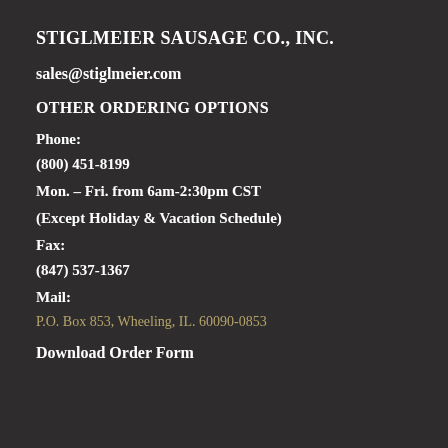STIGLMEIER SAUSAGE CO., INC.
sales@stiglmeier.com
OTHER ORDERING OPTIONS
Phone:
(800) 451-8199
Mon. – Fri. from 6am-2:30pm CST
(Except Holiday & Vacation Schedule)
Fax:
(847) 537-1367
Mail:
P.O. Box 853, Wheeling, IL. 60090-0853
Download Order Form